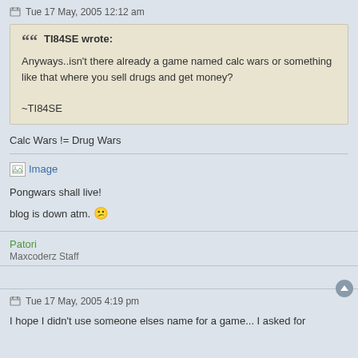Tue 17 May, 2005 12:12 am
TI84SE wrote:
Anyways..isn't there already a game named calc wars or something like that where you sell drugs and get money?

~TI84SE
Calc Wars != Drug Wars
[Figure (other): Broken image placeholder link labeled 'Image']
Pongwars shall live!
blog is down atm. :(
Patori
Maxcoderz Staff
Tue 17 May, 2005 4:19 pm
I hope I didn't use someone elses name for a game... I asked for